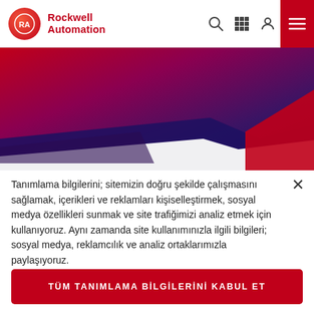Rockwell Automation
[Figure (screenshot): Rockwell Automation website hero banner with red-to-dark-purple gradient background and geometric diagonal shapes]
Tanımlama bilgilerini; sitemizin doğru şekilde çalışmasını sağlamak, içerikleri ve reklamları kişiselleştirmek, sosyal medya özellikleri sunmak ve site trafiğimizi analiz etmek için kullanıyoruz. Aynı zamanda site kullanımınızla ilgili bilgileri; sosyal medya, reklamcılık ve analiz ortaklarımızla paylaşıyoruz.
TÜM TANIMLAMA BİLGİLERİNİ KABUL ET